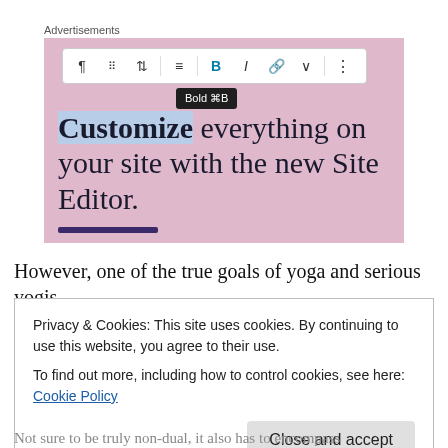Advertisements
[Figure (screenshot): Advertisement screenshot showing a WordPress Site Editor UI with a toolbar containing Bold, Italic, Link buttons and a tooltip showing 'Bold ⌘B'. Below the toolbar, large text reads 'Customize everything on your site with the new Site Editor.' on a pink background.]
However, one of the true goals of yoga and serious yogis
Privacy & Cookies: This site uses cookies. By continuing to use this website, you agree to their use.
To find out more, including how to control cookies, see here: Cookie Policy
Close and accept
Not sure to be truly non-dual, it also has to encompass